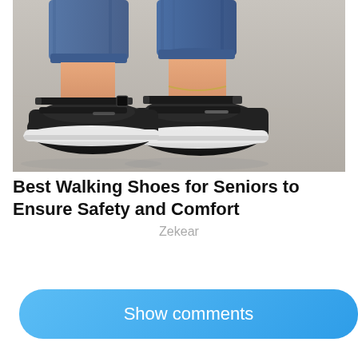[Figure (photo): Close-up photo of a person wearing black velcro strap walking shoes/sneakers with white soles, paired with blue jeans and an ankle bracelet, on a gray floor background.]
Best Walking Shoes for Seniors to Ensure Safety and Comfort
Zekear
Load More
Show comments